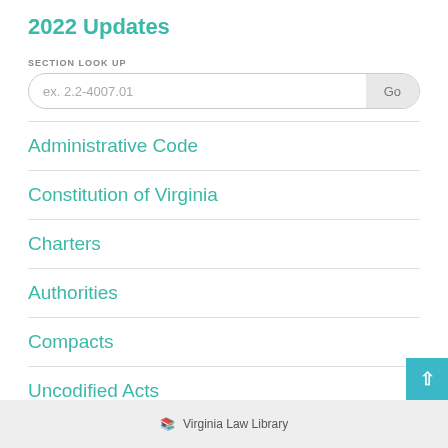2022 Updates
SECTION LOOK UP
ex. 2.2-4007.01
Administrative Code
Constitution of Virginia
Charters
Authorities
Compacts
Uncodified Acts
Virginia Law Library